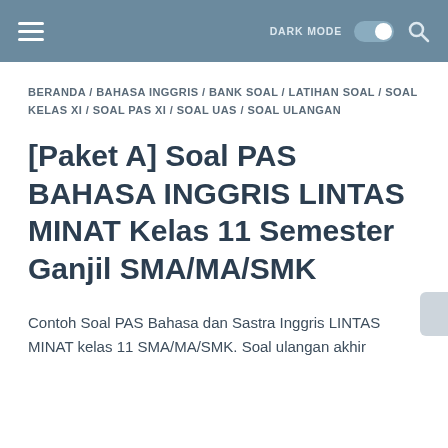≡  DARK MODE  🔍
BERANDA / BAHASA INGGRIS / BANK SOAL / LATIHAN SOAL / SOAL KELAS XI / SOAL PAS XI / SOAL UAS / SOAL ULANGAN
[Paket A] Soal PAS BAHASA INGGRIS LINTAS MINAT Kelas 11 Semester Ganjil SMA/MA/SMK
Contoh Soal PAS Bahasa dan Sastra Inggris LINTAS MINAT kelas 11 SMA/MA/SMK. Soal ulangan akhir